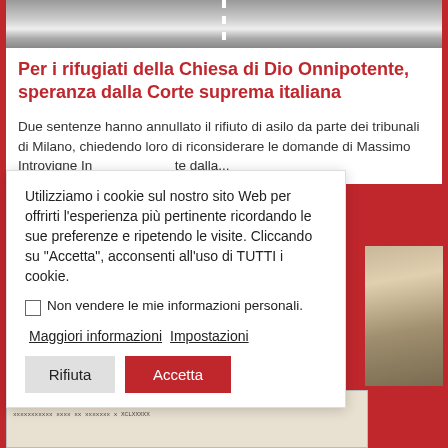[Figure (photo): Road/highway photo viewed from above, with white lane markings]
Per i rifugiati della Chiesa di Dio Onnipotente, speranza dalla Corte suprema italiana
Due sentenze hanno annullato il rifiuto di asilo da parte dei tribunali di Milano, chiedendo loro di riconsiderare le domande di Massimo Introvigne In ...te dalla...
Utilizziamo i cookie sul nostro sito Web per offrirti l'esperienza più pertinente ricordando le sue preferenze e ripetendo le visite. Cliccando su 'Accetta', acconsenti all'uso di TUTTI i cookie.
Non vendere le mie informazioni personali.
Maggiori informazioni  Impostazioni
Rifiuta  Accetta
[Figure (photo): Partial image of an old document or book binding on the right side]